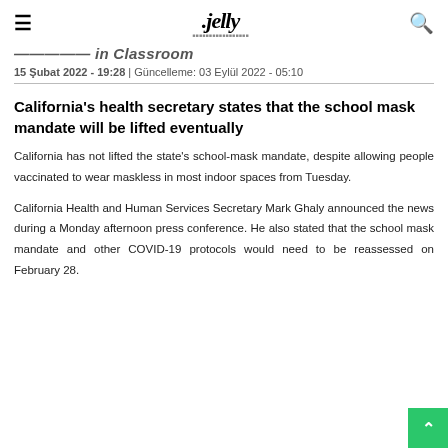≡  .jelly  🔍
…ividuals in Classroom
15 Şubat 2022 - 19:28 | Güncelleme: 03 Eylül 2022 - 05:10
California's health secretary states that the school mask mandate will be lifted eventually
California has not lifted the state's school-mask mandate, despite allowing people vaccinated to wear maskless in most indoor spaces from Tuesday.
California Health and Human Services Secretary Mark Ghaly announced the news during a Monday afternoon press conference. He also stated that the school mask mandate and other COVID-19 protocols would need to be reassessed on February 28.